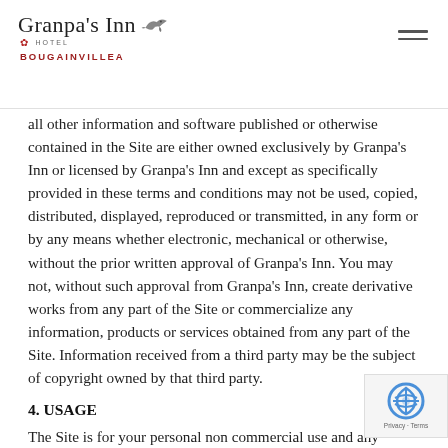[Figure (logo): Granpa's Inn Hotel Bougainvillea logo with script text and bird illustration]
all other information and software published or otherwise contained in the Site are either owned exclusively by Granpa's Inn or licensed by Granpa's Inn and except as specifically provided in these terms and conditions may not be used, copied, distributed, displayed, reproduced or transmitted, in any form or by any means whether electronic, mechanical or otherwise, without the prior written approval of Granpa's Inn. You may not, without such approval from Granpa's Inn, create derivative works from any part of the Site or commercialize any information, products or services obtained from any part of the Site. Information received from a third party may be the subject of copyright owned by that third party.
4. USAGE
The Site is for your personal non commercial use and any